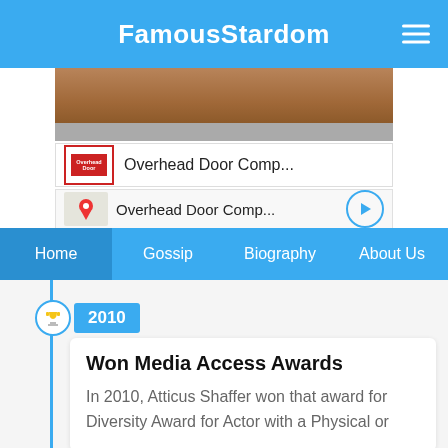FamousStardom
[Figure (screenshot): Partial view of a garage door image (Overhead Door Company advertisement), with two listing rows: 'Overhead Door Comp...' with logo and 'Overhead Door Comp...' with map thumbnail and direction arrow]
Home | Gossip | Biography | About Us
2010
Won Media Access Awards
In 2010, Atticus Shaffer won that award for Diversity Award for Actor with a Physical or